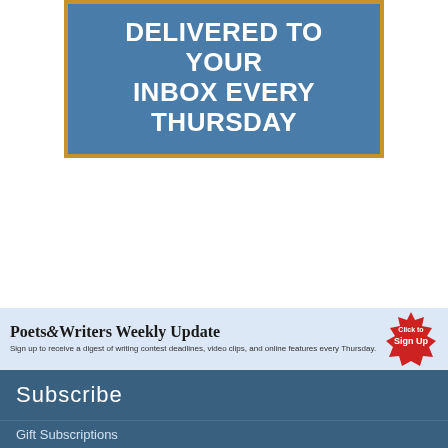[Figure (other): Blue banner with gold border containing bold white uppercase text: DELIVERED TO YOUR INBOX EVERY THURSDAY]
[Figure (infographic): Poets & Writers Weekly Update signup strip with light blue background, title text, description text, and a red starburst Click to Sign Up button]
Subscribe
Gift Subscriptions